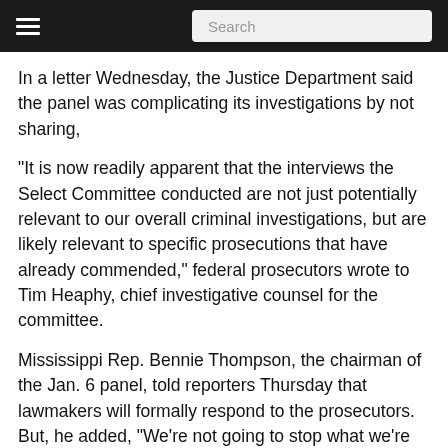Search
In a letter Wednesday, the Justice Department said the panel was complicating its investigations by not sharing,
"It is now readily apparent that the interviews the Select Committee conducted are not just potentially relevant to our overall criminal investigations, but are likely relevant to specific prosecutions that have already commended," federal prosecutors wrote to Tim Heaphy, chief investigative counsel for the committee.
Mississippi Rep. Bennie Thompson, the chairman of the Jan. 6 panel, told reporters Thursday that lawmakers will formally respond to the prosecutors. But, he added, "We're not going to stop what we're doing to share information that we've gotten so far with the Department of Justice."